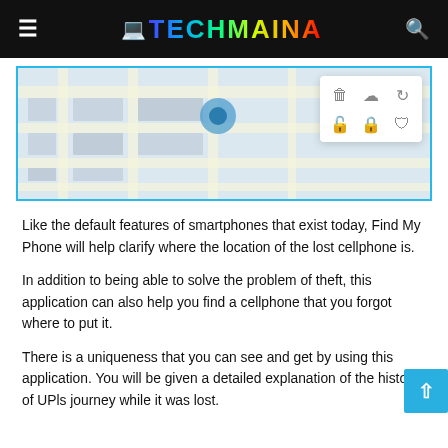TECHMAINA
[Figure (screenshot): A map/GPS interface screenshot showing a city map with a popup panel containing six icons arranged in two rows of three.]
Like the default features of smartphones that exist today, Find My Phone will help clarify where the location of the lost cellphone is.
In addition to being able to solve the problem of theft, this application can also help you find a cellphone that you forgot where to put it.
There is a uniqueness that you can see and get by using this application. You will be given a detailed explanation of the history of UPls journey while it was lost.